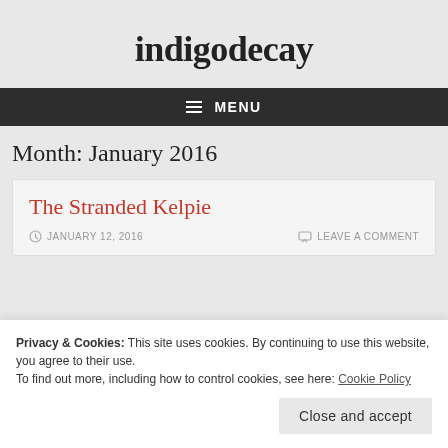indigodecay
≡ MENU
Month: January 2016
The Stranded Kelpie
JANUARY 12, 2016
LEAVE A COMMENT
Privacy & Cookies: This site uses cookies. By continuing to use this website, you agree to their use.
To find out more, including how to control cookies, see here: Cookie Policy
Close and accept